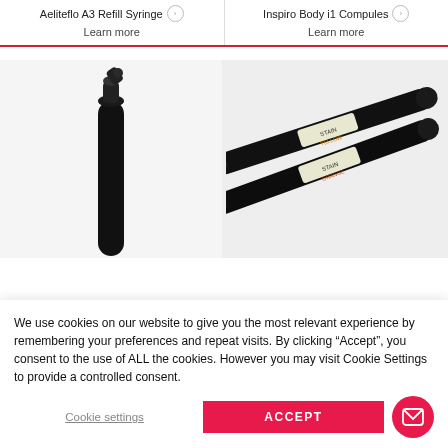Aeliteflo A3 Refill Syringe
Inspiro Body i1 Compules
Learn more
Learn more
[Figure (photo): Black dental syringe (Aeliteflo A3 Refill Syringe) shown vertically with angled tip at top]
[Figure (photo): Two dental compules/capsules labeled STAIN YELLOW and STAIN ORANGE (Inspiro Body i1 Compules) on dark applicators]
We use cookies on our website to give you the most relevant experience by remembering your preferences and repeat visits. By clicking “Accept”, you consent to the use of ALL the cookies. However you may visit Cookie Settings to provide a controlled consent.
Cookie settings
ACCEPT